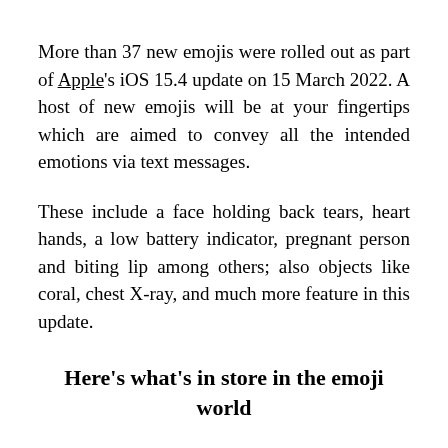More than 37 new emojis were rolled out as part of Apple's iOS 15.4 update on 15 March 2022. A host of new emojis will be at your fingertips which are aimed to convey all the intended emotions via text messages.
These include a face holding back tears, heart hands, a low battery indicator, pregnant person and biting lip among others; also objects like coral, chest X-ray, and much more feature in this update.
Here's what's in store in the emoji world
What type of emojis are introduced?